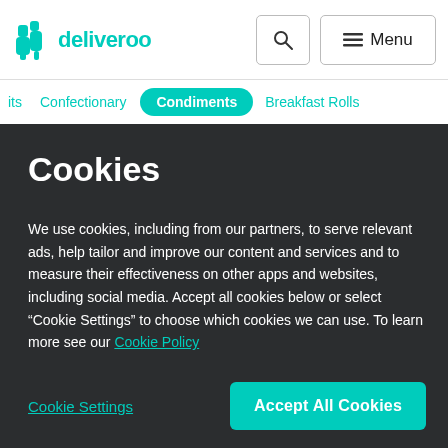[Figure (logo): Deliveroo logo with teal kangaroo icon and teal wordmark 'deliveroo']
deliveroo | Search | Menu
its  Confectionary  Condiments  Breakfast Rolls
Cookies
We use cookies, including from our partners, to serve relevant ads, help tailor and improve our content and services and to measure their effectiveness on other apps and websites, including social media. Accept all cookies below or select “Cookie Settings” to choose which cookies we can use. To learn more see our Cookie Policy
Cookie Settings
Accept All Cookies